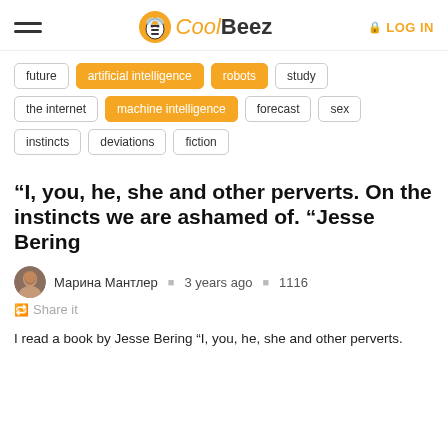CoolBeez | LOG IN
future
artificial intelligence
robots
study
the internet
machine intelligence
forecast
sex
instincts
deviations
fiction
“I, you, he, she and other perverts. On the instincts we are ashamed of. “Jesse Bering
Марина Мантлер   3 years ago   1116
Share it
I read a book by Jesse Bering “I, you, he, she and other perverts.